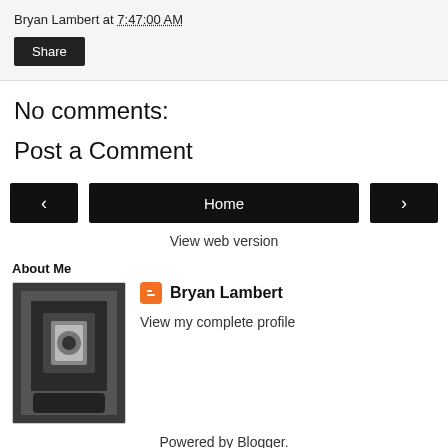Bryan Lambert at 7:47:00 AM
Share
No comments:
Post a Comment
< Home >
View web version
About Me
[Figure (photo): Profile photo of Bryan Lambert showing a person with a smartwatch]
Bryan Lambert
View my complete profile
Powered by Blogger.